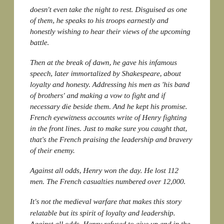doesn't even take the night to rest.  Disguised as one of them, he speaks to his troops earnestly and honestly wishing to hear their views of the upcoming battle.
Then at the break of dawn, he gave his infamous speech, later immortalized by Shakespeare, about loyalty and honesty.  Addressing his men as 'his band of brothers' and making a vow to fight and if necessary die beside them.  And he kept his promise.  French eyewitness accounts write of Henry fighting in the front lines.  Just to make sure you caught that, that's the French praising the leadership and bravery of their enemy.
Against all odds, Henry won the day.  He lost 112 men.  The French casualties numbered over 12,000.
It's not the medieval warfare that makes this story relatable but its spirit of loyalty and leadership.  Against all odds, Henry refused to give up and in the end his faith in his men